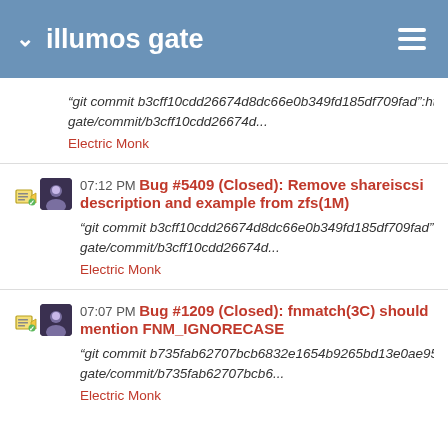illumos gate
"git commit b3cff10cdd26674d8dc66e0b349fd185df709fad":https://github.com/gate/commit/b3cff10cdd26674d...
Electric Monk
07:12 PM Bug #5409 (Closed): Remove shareiscsi description and example from zfs(1M)
"git commit b3cff10cdd26674d8dc66e0b349fd185df709fad":https://github.com/gate/commit/b3cff10cdd26674d...
Electric Monk
07:07 PM Bug #1209 (Closed): fnmatch(3C) should mention FNM_IGNORECASE
"git commit b735fab62707bcb6832e1654b9265bd13e0ae959":https://github.co gate/commit/b735fab62707bcb6...
Electric Monk